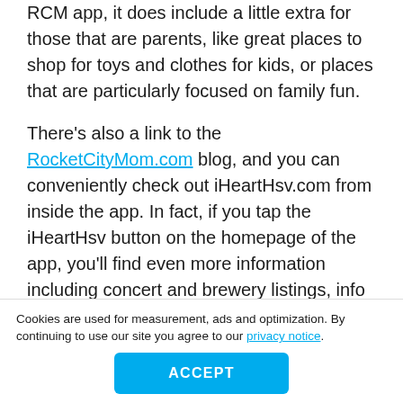RCM app, it does include a little extra for those that are parents, like great places to shop for toys and clothes for kids, or places that are particularly focused on family fun.
There's also a link to the RocketCityMom.com blog, and you can conveniently check out iHeartHsv.com from inside the app. In fact, if you tap the iHeartHsv button on the homepage of the app, you'll find even more information including concert and brewery listings, info on the popular Lucky Duck Scavenger Hunt and
Cookies are used for measurement, ads and optimization. By continuing to use our site you agree to our privacy notice.